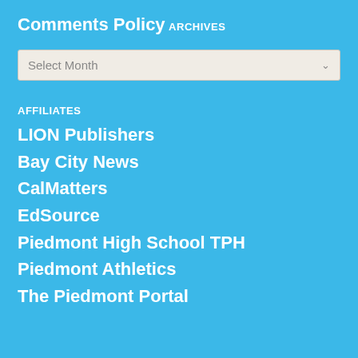Comments Policy
ARCHIVES
Select Month
AFFILIATES
LION Publishers
Bay City News
CalMatters
EdSource
Piedmont High School TPH
Piedmont Athletics
The Piedmont Portal